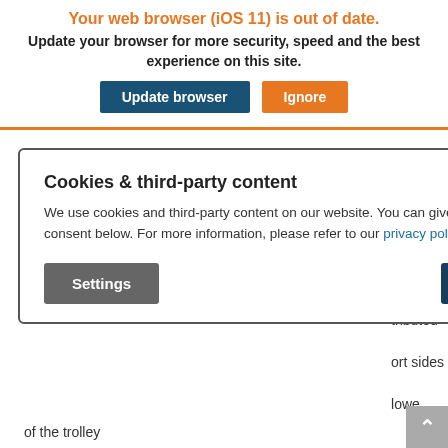Your web browser (iOS 11) is out of date.
Update your browser for more security, speed and the best experience on this site.
Update browser | Ignore
PRODUCT DESCRIPTION
Smooth surface
Cookies & third-party content
We use cookies and third-party content on our website. You can give or withdraw your consent below. For more information, please refer to our privacy policy.
Settings | Accept all
of the trolley